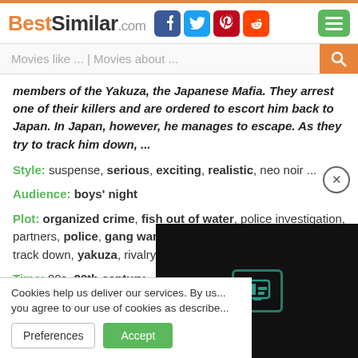BestSimilar.com
members of the Yakuza, the Japanese Mafia. They arrest one of their killers and are ordered to escort him back to Japan. In Japan, however, he manages to escape. As they try to track him down, ...
Style: suspense, serious, exciting, realistic, neo noir ...
Audience: boys' night
Plot: organized crime, fish out of water, police investigation, partners, police, gang war, culture clash, gunfight, crimes, track down, yakuza, rivalry ...
Time: 80s, 20th century
Place: japan, new york, asia, usa,
Cookies help us deliver our services. By us... you agree to our use of cookies as describe...